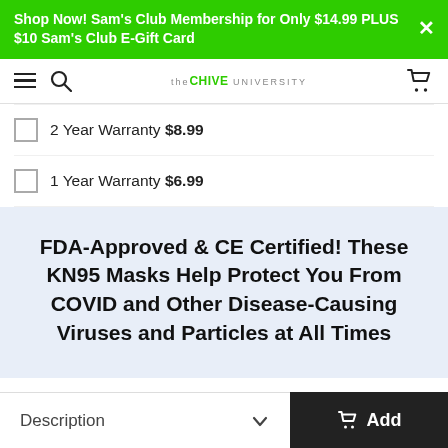Shop Now! Sam's Club Membership for Only $14.99 PLUS $10 Sam's Club E-Gift Card
[Figure (screenshot): Navigation bar with hamburger menu, search icon, theCHIVE UNIVERSITY logo, and cart icon]
2 Year Warranty $8.99
1 Year Warranty $6.99
FDA-Approved & CE Certified! These KN95 Masks Help Protect You From COVID and Other Disease-Causing Viruses and Particles at All Times
Description  Add